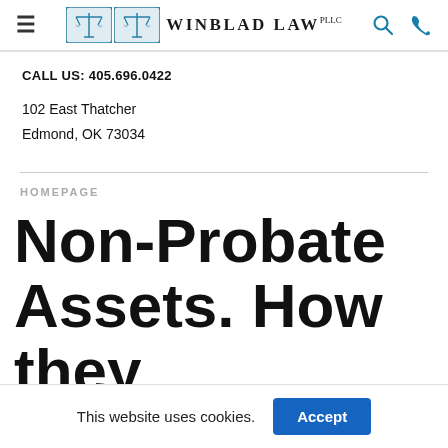Winblad Law PLLC — navigation header with logo, hamburger menu, search and phone icons
CALL US: 405.696.0422
102 East Thatcher
Edmond, OK 73034
HOMEPAGE
Non-Probate Assets. How they
This website uses cookies.